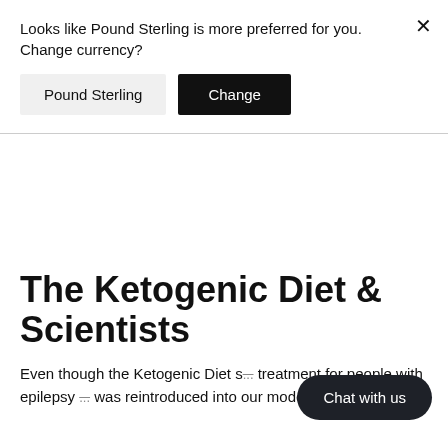Looks like Pound Sterling is more preferred for you. Change currency?
Pound Sterling
Change
The Ketogenic Diet & Scientists
Even though the Ketogenic Diet s... treatment for people with epilepsy ... was reintroduced into our modern times by an
Chat with us